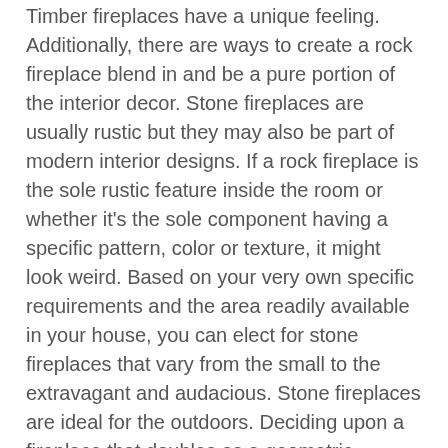Timber fireplaces have a unique feeling. Additionally, there are ways to create a rock fireplace blend in and be a pure portion of the interior decor. Stone fireplaces are usually rustic but they may also be part of modern interior designs. If a rock fireplace is the sole rustic feature inside the room or whether it's the sole component having a specific pattern, color or texture, it might look weird. Based on your very own specific requirements and the area readily available in your house, you can elect for stone fireplaces that vary from the small to the extravagant and audacious. Stone fireplaces are ideal for the outdoors. Deciding upon a fireplace that doubles as a geometric function of contemporary artwork is a surefire method to produce a statement.
The different styles will help you select the perfect one. The architectural design of your house will help narrow your choices. You can also seeA Contemporary Fireplace Designs Cultured stones offer precisely the same rustic and tough look of all-organic stones. Stone fireplace styles supply the traditional fireplace set up look and the typical warm country feel. The mood could be set by them of rooms and influence the style of furniture you select for that room. It is